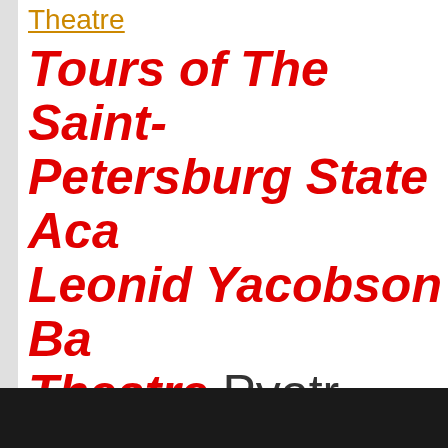Theatre
Tours of The Saint-Petersburg State Aca Leonid Yacobson Ba Theatre Pyotr Tchaikov "The Sleeping Beauty" in three acts)
Classical Ballet